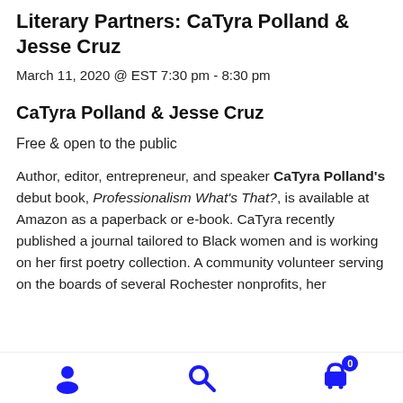Literary Partners: CaTyra Polland & Jesse Cruz
March 11, 2020 @ EST 7:30 pm - 8:30 pm
CaTyra Polland & Jesse Cruz
Free & open to the public
Author, editor, entrepreneur, and speaker CaTyra Polland's debut book, Professionalism What's That?, is available at Amazon as a paperback or e-book. CaTyra recently published a journal tailored to Black women and is working on her first poetry collection. A community volunteer serving on the boards of several Rochester nonprofits, her
Navigation icons: user, search, cart (0)